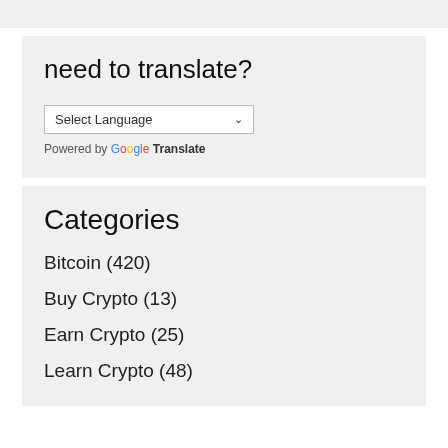need to translate?
[Figure (screenshot): A language selector dropdown widget showing 'Select Language' with a chevron arrow, and 'Powered by Google Translate' text below.]
Categories
Bitcoin (420)
Buy Crypto (13)
Earn Crypto (25)
Learn Crypto (48)